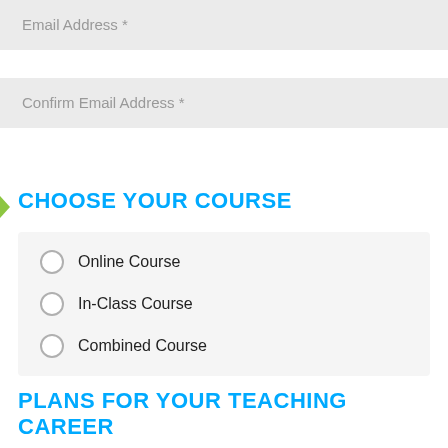Email Address *
Confirm Email Address *
CHOOSE YOUR COURSE
Online Course
In-Class Course
Combined Course
PLANS FOR YOUR TEACHING CAREER